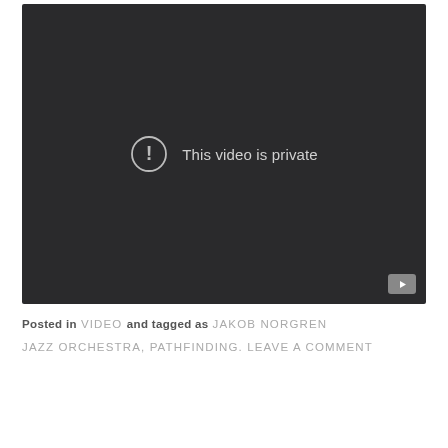[Figure (screenshot): YouTube embedded video player showing 'This video is private' message on a dark background with a warning icon circle and a YouTube logo button in the bottom right corner.]
Posted in VIDEO and tagged as JAKOB NORGREN JAZZ ORCHESTRA, PATHFINDING. LEAVE A COMMENT